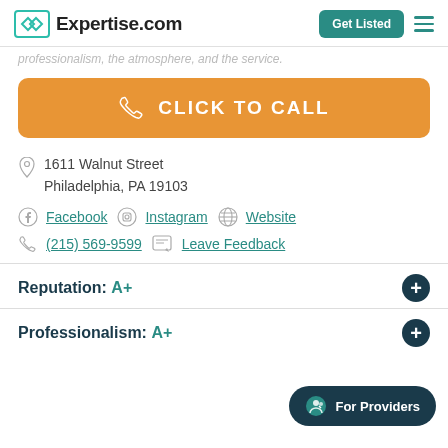Expertise.com | Get Listed
professionalism, the atmosphere, and the service.
CLICK TO CALL
1611 Walnut Street Philadelphia, PA 19103
Facebook | Instagram | Website
(215) 569-9599 | Leave Feedback
Reputation: A+
Professionalism: A+
For Providers